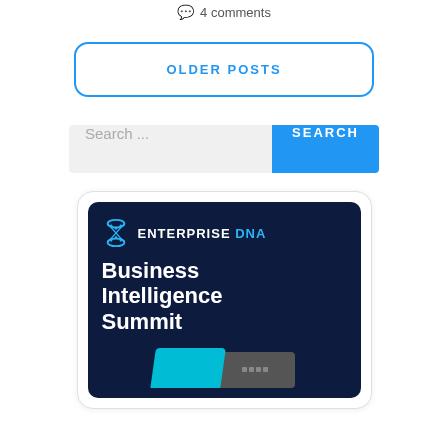4 comments
OLDER POSTS
Search ...
[Figure (illustration): Enterprise DNA Business Intelligence Summit promotional banner with dark navy background, DNA helix icon, white bold text, and cyan graphic elements with a device image at the bottom.]